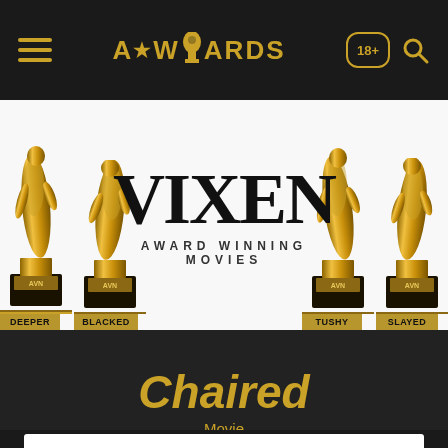AWARDS navigation bar with hamburger menu, logo A★WARDS, 18+ badge and search icon
[Figure (illustration): Vixen Award Winning Movies banner with four gold AVN trophies on sides, two labeled DEEPER and BLACKED on the left, two labeled TUSHY and SLAYED on the right]
⌂ / WINNERS / Films / Chaired
Chaired
Movie